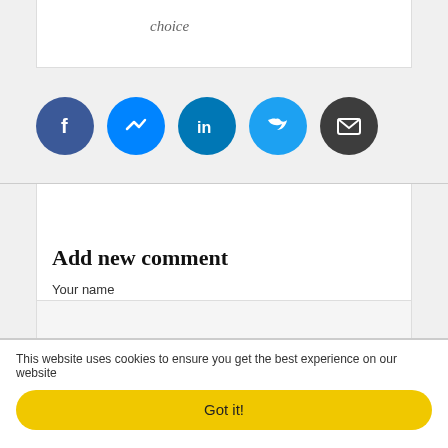choice
[Figure (infographic): Row of 5 social sharing icons: Facebook (dark blue circle with 'f'), Messenger (blue circle with lightning bolt), LinkedIn (teal circle with 'in'), Twitter (light blue circle with bird), Email (dark gray circle with envelope)]
Add new comment
Your name
This website uses cookies to ensure you get the best experience on our website
Got it!